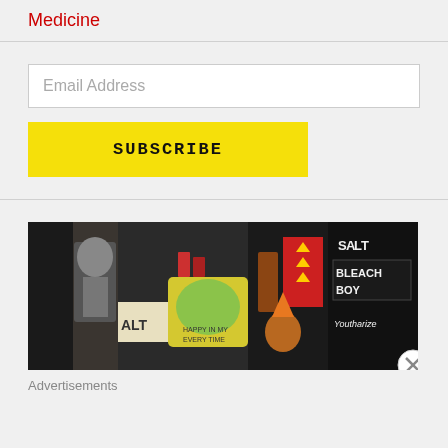Medicine
Email Address
SUBSCRIBE
[Figure (photo): A collage-style banner advertisement showing various items including bottles, stickers, signs reading 'ALT', 'BLEACH BOY', 'Youtharize', and other colorful imagery]
Advertisements